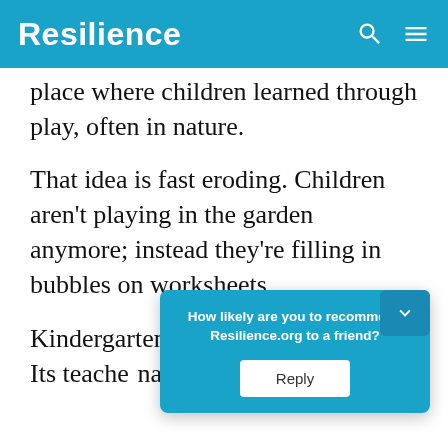Resilience
place where children learned through play, often in nature.
That idea is fast eroding. Children aren't playing in the garden anymore; instead they're filling in bubbles on worksheets.
Kindergarten is the new first grade. Its teache... narrow... skills; studie... ers
[Figure (screenshot): A teal popup dialog overlay asking 'How likely are you to recommend Resilience.org to a friend?' with a Reply button]